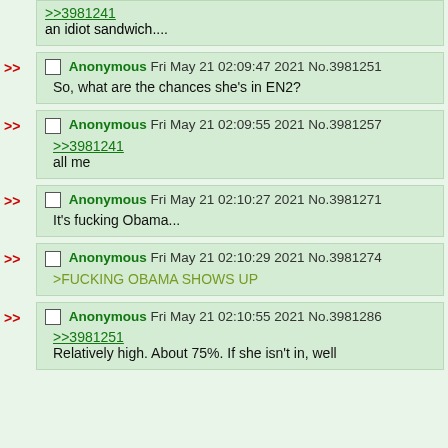>>3981241
an idiot sandwich....
Anonymous Fri May 21 02:09:47 2021 No.3981251
So, what are the chances she's in EN2?
Anonymous Fri May 21 02:09:55 2021 No.3981257
>>3981241
all me
Anonymous Fri May 21 02:10:27 2021 No.3981271
It's fucking Obama...
Anonymous Fri May 21 02:10:29 2021 No.3981274
>FUCKING OBAMA SHOWS UP
Anonymous Fri May 21 02:10:55 2021 No.3981286
>>3981251
Relatively high. About 75%. If she isn't in, well